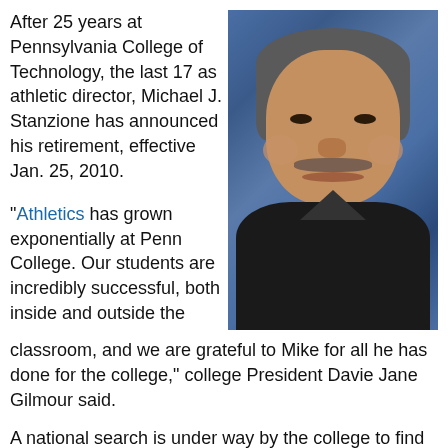After 25 years at Pennsylvania College of Technology, the last 17 as athletic director, Michael J. Stanzione has announced his retirement, effective Jan. 25, 2010.
“Athletics has grown exponentially at Penn College. Our students are incredibly successful, both inside and outside the classroom, and we are grateful to Mike for all he has done for the college,” college President Davie Jane Gilmour said.
[Figure (photo): Portrait photo of Michael J. Stanzione, a middle-aged man with gray-streaked dark hair and a mustache, smiling, wearing a black polo shirt, against a blue background.]
A national search is under way by the college to find a candidate to fill the position by July 1. That will enable